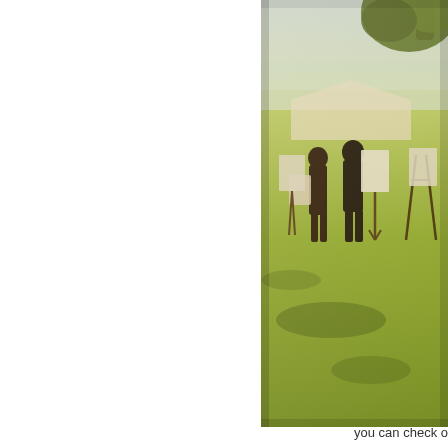[Figure (photo): Outdoor photo of people standing on a green grassy field. Two silhouetted figures stand near display boards or signs on easels. A large tree is visible in the upper right. The scene appears to be an outdoor event or art fair. The photo has a warm, slightly vintage tone with bright sunlight casting strong shadows on the grass. The image is positioned in the right half of the page, extending from near the top to about three-quarters down.]
you can check o